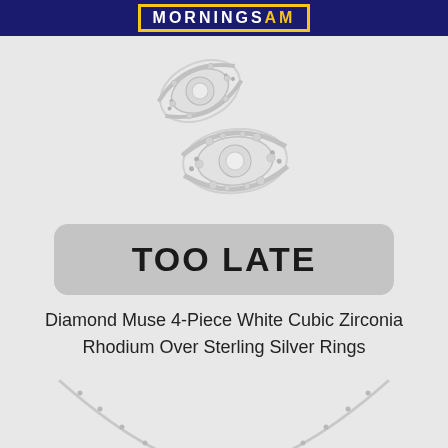MORNINGS AM
[Figure (photo): Two diamond cubic zirconia rings with halo settings on light gray background]
TOO LATE
Diamond Muse 4-Piece White Cubic Zirconia Rhodium Over Sterling Silver Rings
[Figure (photo): Partial view of two silver necklaces on light gray background]